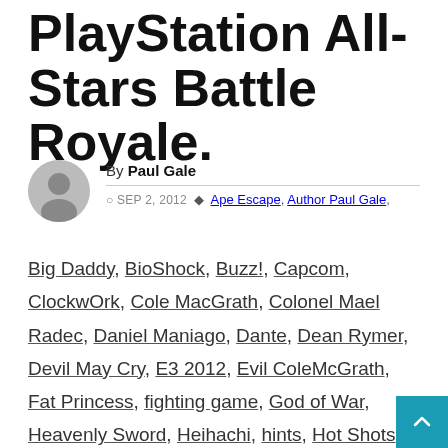PlayStation All-Stars Battle Royale.
By Paul Gale
SEP 2, 2012
Ape Escape, Author Paul Gale, Big Daddy, BioShock, Buzz!, Capcom, ClockwOrk, Cole MacGrath, Colonel Mael Radec, Daniel Maniago, Dante, Dean Rymer, Devil May Cry, E3 2012, Evil ColeMcGrath, Fat Princess, fighting game, God of War, Heavenly Sword, Heihachi, hints, Hot Shots Golf, inFamous, Jak and Daxter, Jonine Latar, Killzone, Kratos, Lisek's Great Adventure, LittleBigPlanet, MediEvil, Metal Gear Solid, Nariko, Nathan Drake, New Children's Book, Nintendo, Omar Kendall, Parappa the Rappa, P...